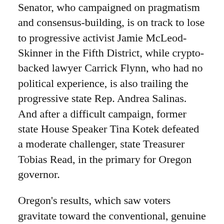Senator, who campaigned on pragmatism and consensus-building, is on track to lose to progressive activist Jamie McLeod-Skinner in the Fifth District, while crypto-backed lawyer Carrick Flynn, who had no political experience, is also trailing the progressive state Rep. Andrea Salinas. And after a difficult campaign, former state House Speaker Tina Kotek defeated a moderate challenger, state Treasurer Tobias Read, in the primary for Oregon governor.
Oregon's results, which saw voters gravitate toward the conventional, genuine progressive, add another layer of complexity to the primary picture. Regardless, races this week showed Democratic candidates of all ideologies feel compelled to address their left flank.